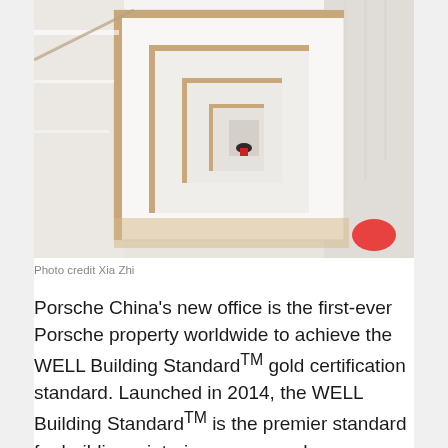[Figure (photo): Aerial view looking down a spiral staircase with white walls, wooden handrails, and light wood floors. A small figure visible at the bottom. A red element visible at lower right corner.]
Photo credit Xia Zhi
Porsche China's new office is the first-ever Porsche property worldwide to achieve the WELL Building Standard™ gold certification standard. Launched in 2014, the WELL Building Standard™ is the premier standard for buildings, interior spaces and communities seeking to implement, validate